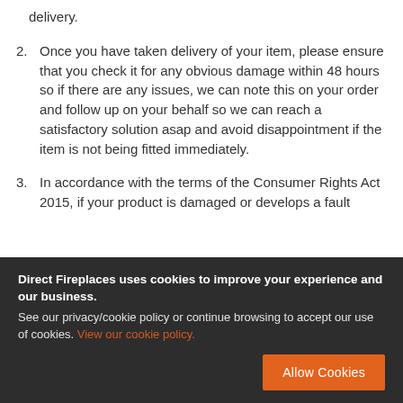delivery.
2. Once you have taken delivery of your item, please ensure that you check it for any obvious damage within 48 hours so if there are any issues, we can note this on your order and follow up on your behalf so we can reach a satisfactory solution asap and avoid disappointment if the item is not being fitted immediately.
3. In accordance with the terms of the Consumer Rights Act 2015, if your product is damaged or develops a fault
Direct Fireplaces uses cookies to improve your experience and our business. See our privacy/cookie policy or continue browsing to accept our use of cookies. View our cookie policy.